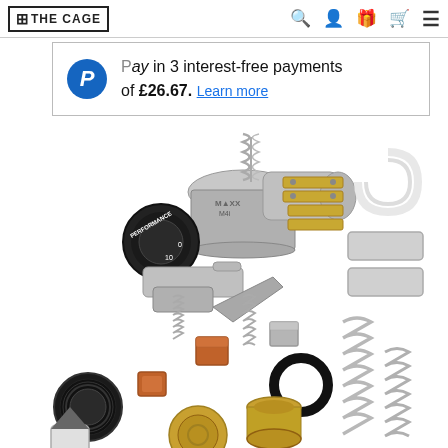THE CAGE — navigation header with search, account, gift, cart, and menu icons
Pay in 3 interest-free payments of £26.67. Learn more
[Figure (photo): Exploded view product photo of a Maxx Performance M4i airsoft hop-up unit with all components laid out including springs, O-rings, brass bushings, nozzle, chamber body, and various small parts on white background]